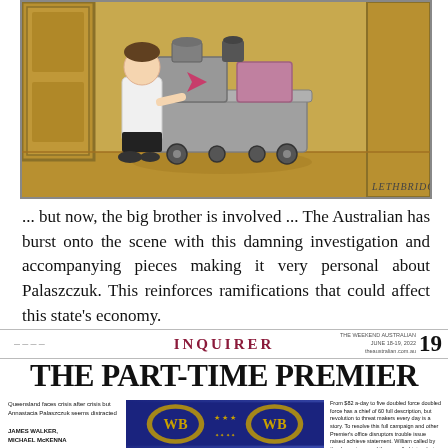[Figure (illustration): Editorial cartoon by Lethbridge showing a person in white uniform pushing a large industrial cleaning/catering trolley cart in a corridor between walls and a doorway. Warm yellow/tan background.]
... but now, the big brother is involved ... The Australian has burst onto the scene with this damning investigation and accompanying pieces making it very personal about Palaszczuk. This reinforces ramifications that could affect this state's economy.
[Figure (screenshot): Newspaper front page section showing 'INQUIRER' masthead in dark red/maroon with page number 19, followed by large headline 'THE PART-TIME PREMIER', with small text about Queensland and subheadings, centered image showing Warner Bros style shield/crest logos on decorative background, and small article text columns on either side.]